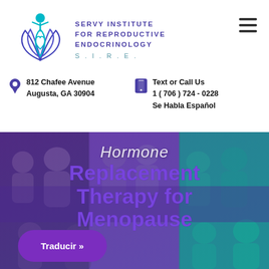[Figure (logo): Servy Institute for Reproductive Endocrinology (S.I.R.E.) logo with teal and blue lotus/figure design]
SERVY INSTITUTE
FOR REPRODUCTIVE
ENDOCRINOLOGY
S.I.R.E.
812 Chafee Avenue
Augusta, GA 30904
Text or Call Us
1 ( 706 ) 724 - 0228
Se Habla Español
[Figure (photo): Collage of group photos with purple-teal overlay showing families and medical staff]
Hormone Replacement Therapy for Menopause
Traducir »